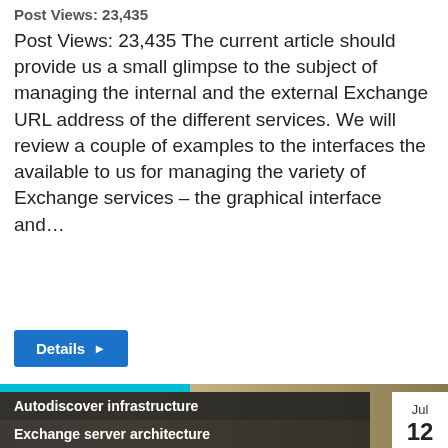Post Views: 23,435
Post Views: 23,435 The current article should provide us a small glimpse to the subject of managing the internal and the external Exchange URL address of the different services. We will review a couple of examples to the interfaces the available to us for managing the variety of Exchange services – the graphical interface and…
Details ▶
[Figure (screenshot): Bottom section showing a thumbnail image with a cyan bar at the top, two dark overlay labels reading 'Autodiscover infrastructure' and 'Exchange server architecture', and a date box showing 'Jul 12' on the right side.]